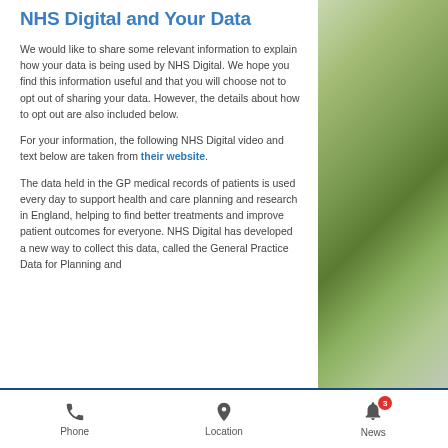NHS Digital and Your Data
We would like to share some relevant information to explain how your data is being used by NHS Digital. We hope you find this information useful and that you will choose not to opt out of sharing your data. However, the details about how to opt out are also included below.
For your information, the following NHS Digital video and text below are taken from their website.
The data held in the GP medical records of patients is used every day to support health and care planning and research in England, helping to find better treatments and improve patient outcomes for everyone. NHS Digital has developed a new way to collect this data, called the General Practice Data for Planning and
Phone   Location   News